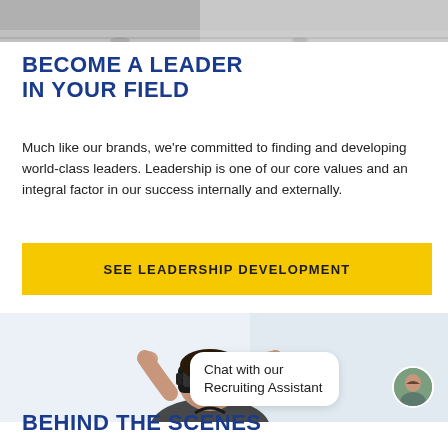[Figure (photo): Top partial image showing people walking, cropped at top of page]
BECOME A LEADER IN YOUR FIELD
Much like our brands, we're committed to finding and developing world-class leaders. Leadership is one of our core values and an integral factor in our success internally and externally.
SEE LEADERSHIP DEVELOPMENT
[Figure (photo): Person wearing VR headset with hands raised, with a chat bubble overlay reading 'Chat with our Recruiting Assistant' and a recruiter avatar photo]
BEHIND THE SCENES